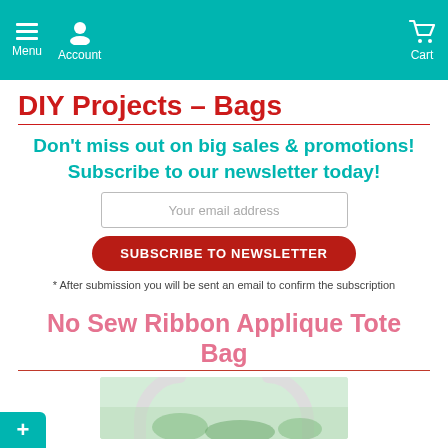Menu  Account  Cart
DIY Projects - Bags
Don't miss out on big sales & promotions! Subscribe to our newsletter today!
Your email address
SUBSCRIBE TO NEWSLETTER
* After submission you will be sent an email to confirm the subscription
No Sew Ribbon Applique Tote Bag
[Figure (photo): Partial view of a tote bag with handles and green/leafy content, cropped at bottom of page]